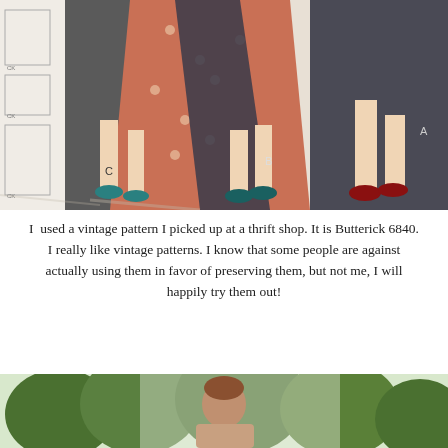[Figure (photo): A vintage sewing pattern envelope showing illustrated fashion figures of women wearing different garment styles (wide-leg trousers, long floral robe/coat, dark skirt) with heeled sandals, labeled A, B, C. The envelope is creased and slightly worn.]
I used a vintage pattern I picked up at a thrift shop. It is Butterick 6840. I really like vintage patterns. I know that some people are against actually using them in favor of preserving them, but not me, I will happily try them out!
[Figure (photo): A person standing outdoors with green trees in the background, partially cropped at the bottom of the page.]